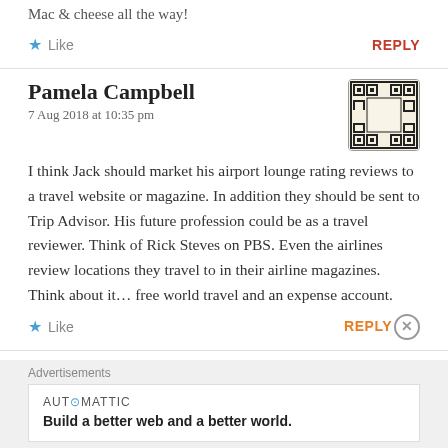Mac & cheese all the way!
★ Like    REPLY
Pamela Campbell
7 Aug 2018 at 10:35 pm
I think Jack should market his airport lounge rating reviews to a travel website or magazine. In addition they should be sent to Trip Advisor. His future profession could be as a travel reviewer. Think of Rick Steves on PBS. Even the airlines review locations they travel to in their airline magazines. Think about it... free world travel and an expense account.
★ Like    REPLY
Advertisements
AUT⊙MATTIC
Build a better web and a better world.